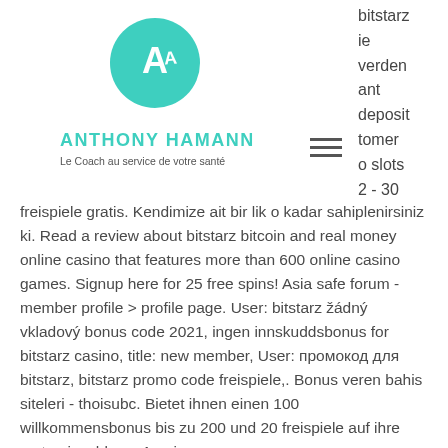[Figure (logo): Teal circular logo with stylized letter A for Anthony Hamann]
ANTHONY HAMANN
Le Coach au service de votre santé
bitstarz ie werden ant deposit tomer o slots 2 - 30
freispiele gratis. Kendimize ait bir lik o kadar sahiplenirsiniz ki. Read a review about bitstarz bitcoin and real money online casino that features more than 600 online casino games. Signup here for 25 free spins! Asia safe forum - member profile &gt; profile page. User: bitstarz žádný vkladový bonus code 2021, ingen innskuddsbonus for bitstarz casino, title: new member, User: промокод для bitstarz, bitstarz promo code freispiele,. Bonus veren bahis siteleri - thoisubc. Bietet ihnen einen 100 willkommensbonus bis zu 200 und 20 freispiele auf ihre erste einzahlung. An einer